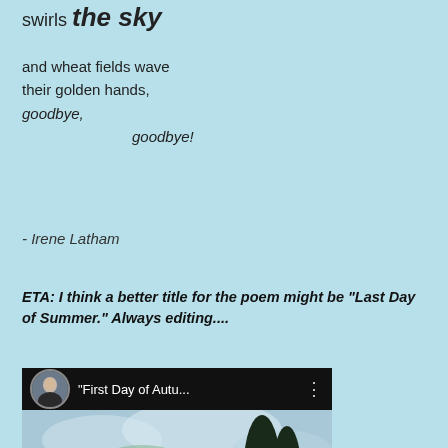swirls the sky
and wheat fields wave
their golden hands,
goodbye,
		goodbye!
- Irene Latham
ETA: I think a better title for the poem might be "Last Day of Summer." Always editing....
[Figure (screenshot): YouTube video thumbnail showing 'First Day of Autu...' with a Van Gogh-style wheat field painting and a red YouTube play button. A circular avatar of a woman is shown in the top left.]